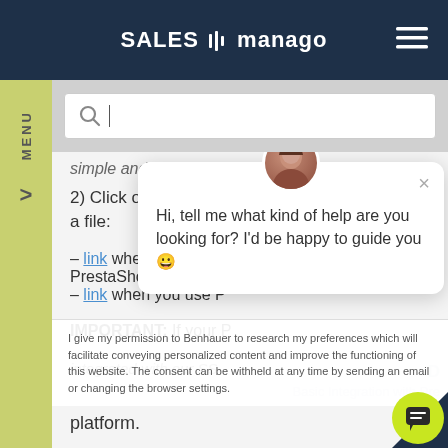[Figure (screenshot): SALESmanago navigation bar with logo and hamburger menu on dark navy background]
[Figure (screenshot): Search input bar with magnifying glass icon and text cursor]
simple and easy way of plugin installation..
2) Click one of the following links and download a file:
– link when you use PrestaShop 1.6.
– link when you use P
IMPORTANT: If your P
integrated with our SS
[Figure (screenshot): Chat popup with avatar, close button, and message: Hi, tell me what kind of help are you looking for? I'd be happy to guide you]
I give my permission to Benhauer to research my preferences which will facilitate conveying personalized content and improve the functioning of this website. The consent can be withheld at any time by sending an email or changing the browser settings.
Basic Integration with Pre
platform.